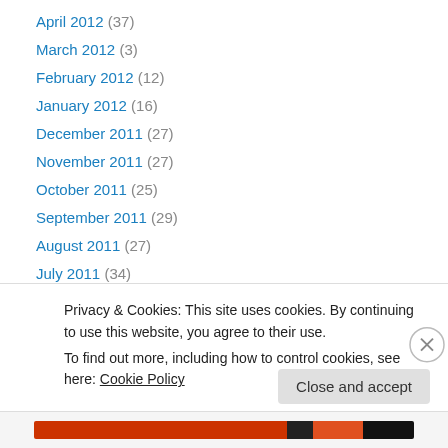April 2012 (37)
March 2012 (3)
February 2012 (12)
January 2012 (16)
December 2011 (27)
November 2011 (27)
October 2011 (25)
September 2011 (29)
August 2011 (27)
July 2011 (34)
June 2011 (25)
May 2011 (32)
April 2011 (16)
Privacy & Cookies: This site uses cookies. By continuing to use this website, you agree to their use.
To find out more, including how to control cookies, see here: Cookie Policy
Close and accept